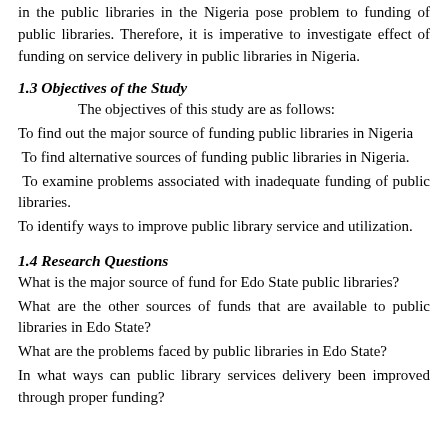in the public libraries in the Nigeria pose problem to funding of public libraries. Therefore, it is imperative to investigate effect of funding on service delivery in public libraries in Nigeria.
1.3 Objectives of the Study
The objectives of this study are as follows:
To find out the major source of funding public libraries in Nigeria
To find alternative sources of funding public libraries in Nigeria.
To examine problems associated with inadequate funding of public libraries.
To identify ways to improve public library service and utilization.
1.4 Research Questions
What is the major source of fund for Edo State public libraries?
What are the other sources of funds that are available to public libraries in Edo State?
What are the problems faced by public libraries in Edo State?
In what ways can public library services delivery been improved through proper funding?